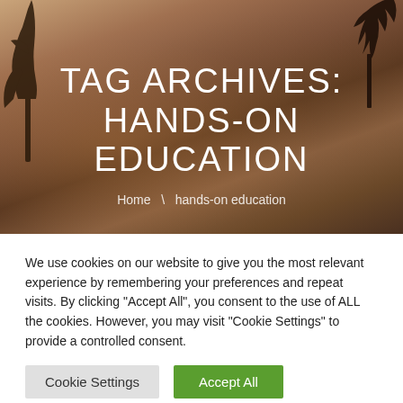[Figure (photo): Misty warm-toned outdoor scene with tree silhouettes against an orange-brown sky, serving as a hero banner background.]
TAG ARCHIVES: HANDS-ON EDUCATION
Home \ hands-on education
We use cookies on our website to give you the most relevant experience by remembering your preferences and repeat visits. By clicking "Accept All", you consent to the use of ALL the cookies. However, you may visit "Cookie Settings" to provide a controlled consent.
Cookie Settings | Accept All